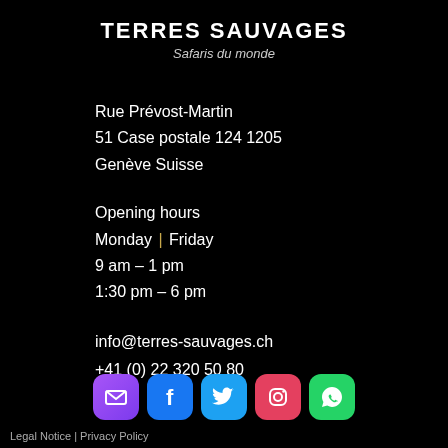TERRES SAUVAGES
Safaris du monde
Rue Prévost-Martin
51 Case postale 124 1205
Genève Suisse
Opening hours
Monday | Friday
9 am – 1 pm
1:30 pm – 6 pm
info@terres-sauvages.ch
+41 (0) 22 320 50 80
[Figure (infographic): Social media icons: email, Facebook, Twitter, Instagram, WhatsApp]
Legal Notice | Privacy Policy